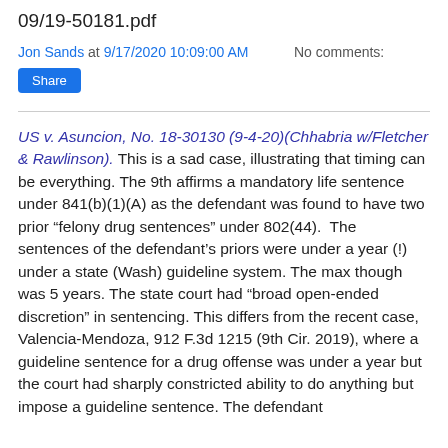09/19-50181.pdf
Jon Sands at 9/17/2020 10:09:00 AM   No comments:
Share
US v. Asuncion, No. 18-30130 (9-4-20)(Chhabria w/Fletcher & Rawlinson). This is a sad case, illustrating that timing can be everything. The 9th affirms a mandatory life sentence under 841(b)(1)(A) as the defendant was found to have two prior “felony drug sentences” under 802(44). The sentences of the defendant’s priors were under a year (!) under a state (Wash) guideline system. The max though was 5 years. The state court had “broad open-ended discretion” in sentencing. This differs from the recent case, Valencia-Mendoza, 912 F.3d 1215 (9th Cir. 2019), where a guideline sentence for a drug offense was under a year but the court had sharply constricted ability to do anything but impose a guideline sentence. The defendant